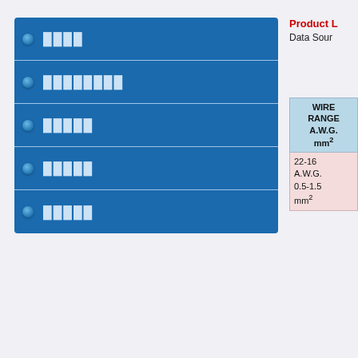████
████████
█████
█████
█████
Product L
Data Sour
| WIRE RANGE A.W.G. mm² |
| --- |
| 22-16 A.W.G. 0.5-1.5 mm² |